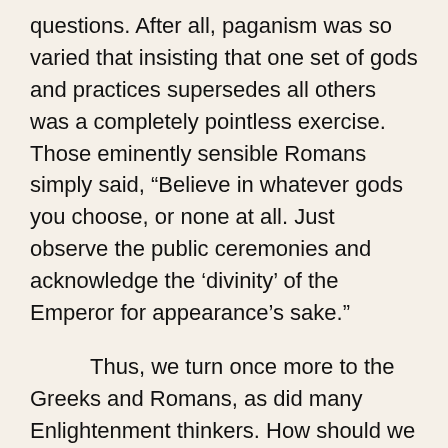questions.  After all, paganism was so varied that insisting that one set of gods and practices supersedes all others was a completely pointless exercise.  Those eminently sensible Romans simply said, “Believe in whatever gods you choose, or none at all.  Just observe the public ceremonies and acknowledge the ‘divinity’ of the Emperor for appearance’s sake.”
Thus, we turn once more to the Greeks and Romans, as did many Enlightenment thinkers.  How should we pursue truth?  Well, let’s see how those admirable ancient sages did so.  Let’s discuss their thoughts and proposals.  Let’s study their literary output in depth.  Let’s really understand how language can be used and developed as a tool to express nuance—no better exemplars than